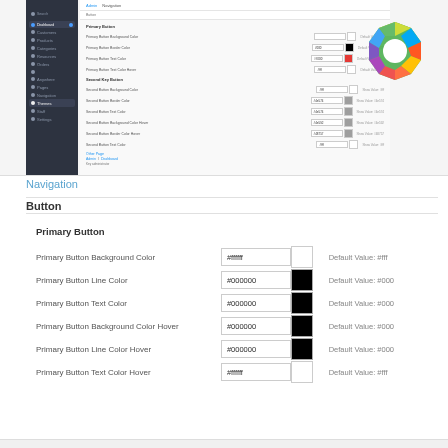[Figure (screenshot): WordPress/CMS admin panel showing theme customizer with sidebar navigation and color settings for Primary Button and Second Key Button sections]
Navigation
Button
Primary Button
Primary Button Background Color
#ffffff
Default Value: #fff
Primary Button Line Color
#000000
Default Value: #000
Primary Button Text Color
#000000
Default Value: #000
Primary Button Background Color Hover
#000000
Default Value: #000
Primary Button Line Color Hover
#000000
Default Value: #000
Primary Button Text Color Hover
#ffffff
Default Value: #fff